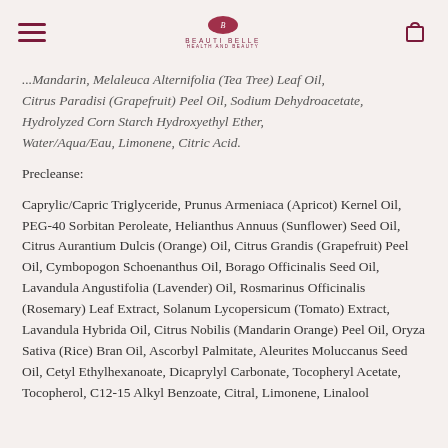[hamburger menu] [BeautiBelle logo] [cart icon]
...Mandarin, Melaleuca Alternifolia (Tea Tree) Leaf Oil, Citrus Paradisi (Grapefruit) Peel Oil, Sodium Dehydroacetate, Hydrolyzed Corn Starch Hydroxyethyl Ether, Water/Aqua/Eau, Limonene, Citric Acid.
Precleanse:
Caprylic/Capric Triglyceride, Prunus Armeniaca (Apricot) Kernel Oil, PEG-40 Sorbitan Peroleate, Helianthus Annuus (Sunflower) Seed Oil, Citrus Aurantium Dulcis (Orange) Oil, Citrus Grandis (Grapefruit) Peel Oil, Cymbopogon Schoenanthus Oil, Borago Officinalis Seed Oil, Lavandula Angustifolia (Lavender) Oil, Rosmarinus Officinalis (Rosemary) Leaf Extract, Solanum Lycopersicum (Tomato) Extract, Lavandula Hybrida Oil, Citrus Nobilis (Mandarin Orange) Peel Oil, Oryza Sativa (Rice) Bran Oil, Ascorbyl Palmitate, Aleurites Moluccanus Seed Oil, Cetyl Ethylhexanoate, Dicaprylyl Carbonate, Tocopheryl Acetate, Tocopherol, C12-15 Alkyl Benzoate, Citral, Limonene, Linalool